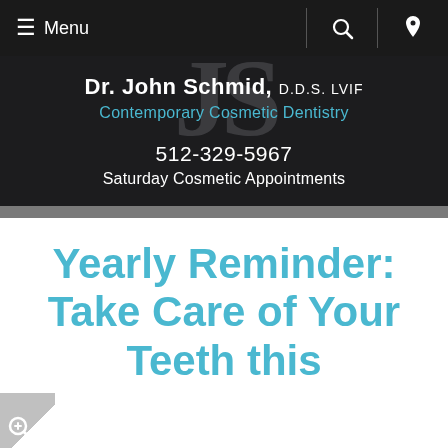Menu
[Figure (logo): Dr. John Schmid D.D.S. LVIF Contemporary Cosmetic Dentistry logo with JS watermark letters]
512-329-5967
Saturday Cosmetic Appointments
Yearly Reminder: Take Care of Your Teeth this